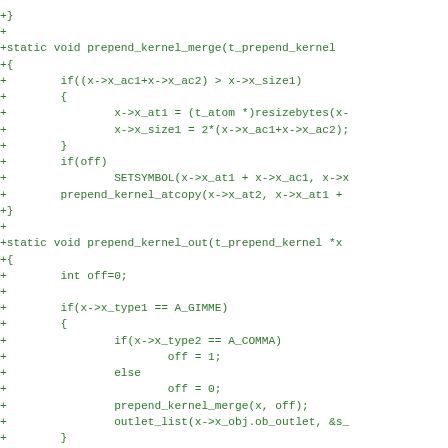+}
+
+static void prepend_kernel_merge(t_prepend_kernel
+{
+        if((x->x_ac1+x->x_ac2) > x->x_size1)
+        {
+                x->x_at1 = (t_atom *)resizebytes(x-
+                x->x_size1 = 2*(x->x_ac1+x->x_ac2);
+        }
+        if(off)
+                SETSYMBOL(x->x_at1 + x->x_ac1, x->x
+        prepend_kernel_atcopy(x->x_at2, x->x_at1 +
+}
+
+static void prepend_kernel_out(t_prepend_kernel *x
+{
+        int off=0;
+
+        if(x->x_type1 == A_GIMME)
+        {
+                if(x->x_type2 == A_COMMA)
+                        off = 1;
+                else
+                        off = 0;
+                prepend_kernel_merge(x, off);
+                outlet_list(x->x_obj.ob_outlet, &s_
+        }
+        else if(x->x_type1 == A_COMMA)
+        {
+                if(x->x_type2 == A_COMMA)